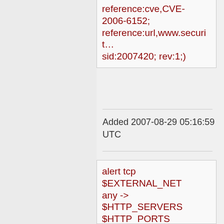reference:cve,CVE-2006-6152; reference:url,www.securit… sid:2007420; rev:1;)
Added 2007-08-29 05:16:59 UTC
alert tcp $EXTERNAL_NET any -> $HTTP_SERVERS $HTTP_PORTS (msg:"BLEEDING-EDGE WEB vSpin.net Classified System SQL Injection Attempt -- cat.asp cat ASCII"; flow:established,to_serve